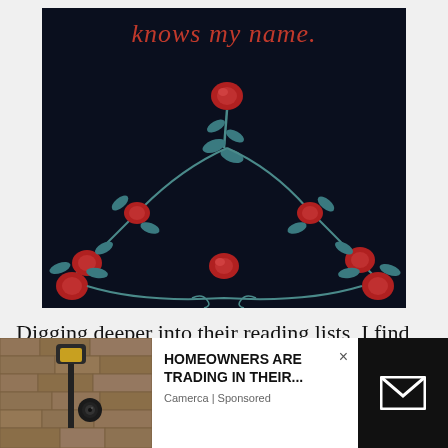[Figure (illustration): Book cover with dark navy background, italic red text reading 'knows my name.' at the top, and decorative blue-teal vine/rose illustration forming an arch with red roses at the bottom]
Digging deeper into their reading lists, I find that Crouch's penchant for fiction over nonfiction is
[Figure (photo): Advertisement showing a security camera mounted on a stone wall next to a lamp post, with text 'HOMEOWNERS ARE TRADING IN THEIR...' sponsored by Camerca, and an email icon on dark background]